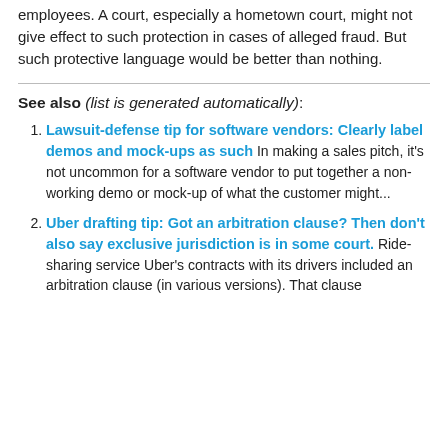employees. A court, especially a hometown court, might not give effect to such protection in cases of alleged fraud. But such protective language would be better than nothing.
See also (list is generated automatically):
Lawsuit-defense tip for software vendors: Clearly label demos and mock-ups as such In making a sales pitch, it's not uncommon for a software vendor to put together a non-working demo or mock-up of what the customer might...
Uber drafting tip: Got an arbitration clause? Then don't also say exclusive jurisdiction is in some court. Ride-sharing service Uber's contracts with its drivers included an arbitration clause (in various versions). That clause